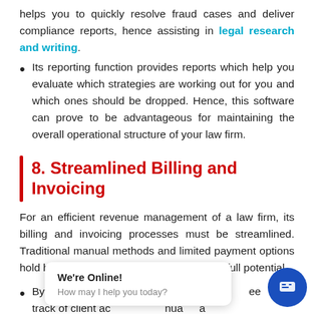helps you to quickly resolve fraud cases and deliver compliance reports, hence assisting in legal research and writing.
Its reporting function provides reports which help you evaluate which strategies are working out for you and which ones should be dropped. Hence, this software can prove to be advantageous for maintaining the overall operational structure of your law firm.
8. Streamlined Billing and Invoicing
For an efficient revenue management of a law firm, its billing and invoicing processes must be streamlined. Traditional manual methods and limited payment options hold back a law firm from maximizing to its full potential.
By automating t... track of client ac... nua... a